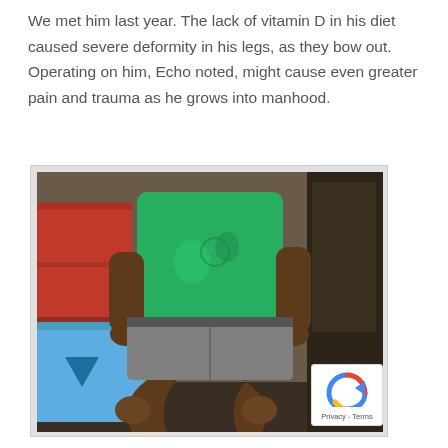We met him last year. The lack of vitamin D in his diet caused severe deformity in his legs, as they bow out. Operating on him, Echo noted, might cause even greater pain and trauma as he grows into manhood.
[Figure (photo): Photo of a person wearing a green t-shirt and khaki shorts, showing bowed legs, standing indoors with a blue appliance and red shelving visible in the background.]